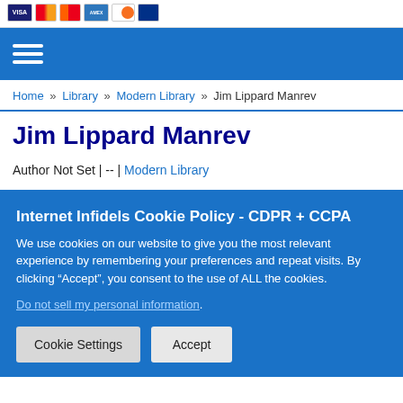[Figure (other): Payment card icons: VISA, Mastercard, Maestro, American Express, Discover, and another card brand]
Home » Library » Modern Library » Jim Lippard Manrev
Jim Lippard Manrev
Author Not Set | -- | Modern Library
Internet Infidels Cookie Policy - CDPR + CCPA
We use cookies on our website to give you the most relevant experience by remembering your preferences and repeat visits. By clicking “Accept”, you consent to the use of ALL the cookies.
Do not sell my personal information.
Cookie Settings   Accept